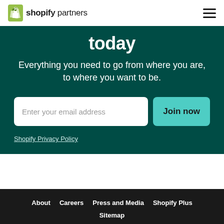shopify partners
today
Everything you need to go from where you are, to where you want to be.
Enter your email address | Join now
Shopify Privacy Policy
About   Careers   Press and Media   Shopify Plus   Sitemap